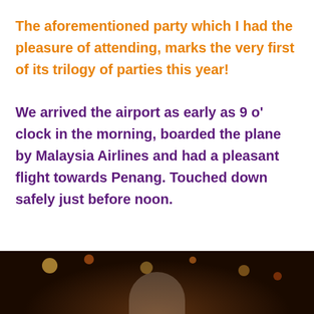The aforementioned party which I had the pleasure of attending, marks the very first of its trilogy of parties this year!
We arrived the airport as early as 9 o' clock in the morning, boarded the plane by Malaysia Airlines and had a pleasant flight towards Penang. Touched down safely just before noon.
[Figure (photo): A dark photo strip at the bottom of the page showing bokeh lights against a dark background, with a faint white circular shape in the center bottom.]